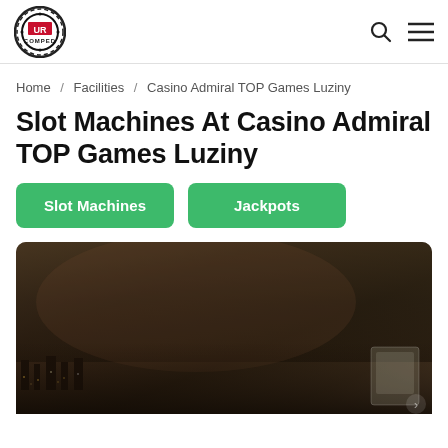URComped logo | Search | Menu
Home / Facilities / Casino Admiral TOP Games Luziny
Slot Machines At Casino Admiral TOP Games Luziny
Slot Machines
Jackpots
[Figure (photo): Dimly lit casino interior at night with city lights visible in the background and a gaming machine screen in the lower right]